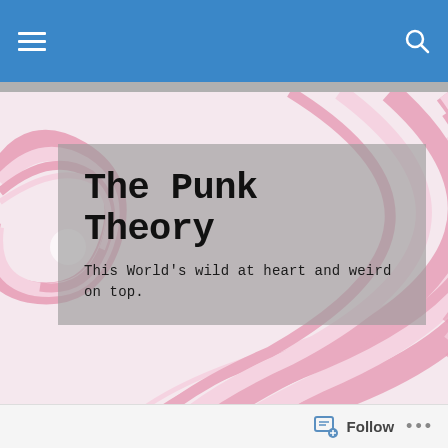Navigation bar with hamburger menu and search icon
[Figure (illustration): Pink and white swirl/spiral decorative background pattern for blog header]
The Punk Theory
This World's wild at heart and weird on top.
TAGGED WITH CHAOL WESTFALL
[Figure (illustration): Pink and white swirl/spiral decorative background pattern for blog post card, partially cropped, with gray overlay box containing partially visible text]
Follow ...